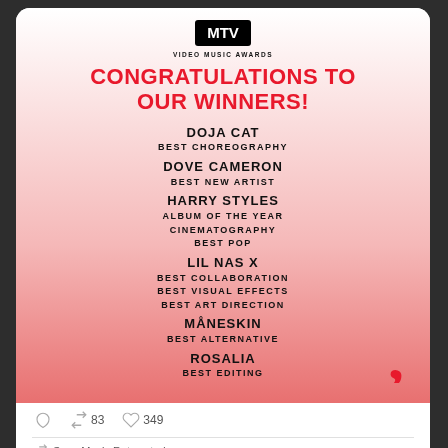[Figure (screenshot): MTV Video Music Awards tweet card showing congratulations to VMA winners]
CONGRATULATIONS TO OUR WINNERS!
DOJA CAT – BEST CHOREOGRAPHY
DOVE CAMERON – BEST NEW ARTIST
HARRY STYLES – ALBUM OF THE YEAR, CINEMATOGRAPHY, BEST POP
LIL NAS X – BEST COLLABORATION, BEST VISUAL EFFECTS, BEST ART DIRECTION
MÅNESKIN – BEST ALTERNATIVE
ROSALIA – BEST EDITING
83 retweets · 349 likes
Sony Music Retweeted
Video Music Awards @vmas
Best Choreography Winner 'Woman!'